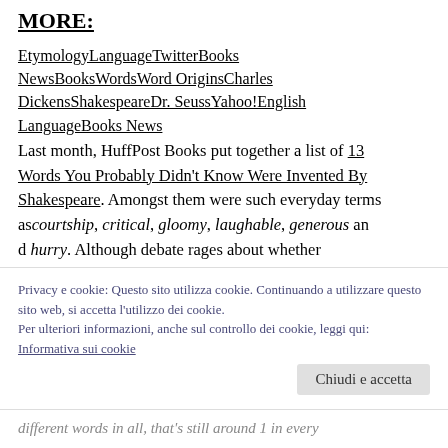MORE:
EtymologyLanguageTwitterBooks NewsBooksWordsWord OriginsCharles DickensShakespeareDr. SeussYahoo!English LanguageBooks News
Last month, HuffPost Books put together a list of 13 Words You Probably Didn't Know Were Invented By Shakespeare. Amongst them were such everyday terms as courtship, critical, gloomy, laughable, generous and hurry. Although debate rages about whether Shakespeare actually coined these terms himself or
Privacy e cookie: Questo sito utilizza cookie. Continuando a utilizzare questo sito web, si accetta l'utilizzo dei cookie.
Per ulteriori informazioni, anche sul controllo dei cookie, leggi qui:
Informativa sui cookie
Chiudi e accetta
different words in all, that's still around 1 in every